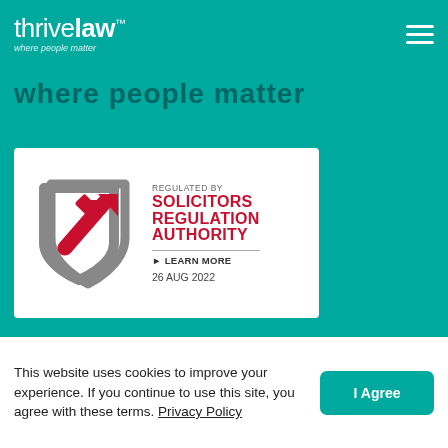thrivelaw™ where people matter
where people matter
[Figure (logo): Solicitors Regulation Authority badge: shield with red arrow, text 'REGULATED BY SOLICITORS REGULATION AUTHORITY ▶ LEARN MORE 26 AUG 2022']
[Figure (logo): Mindful Employer logo with white checkmarks and bold white text 'MINDFUL EMPLOYER']
This website uses cookies to improve your experience. If you continue to use this site, you agree with these terms. Privacy Policy
I Agree